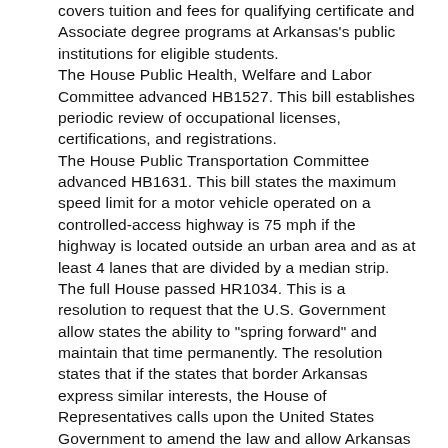covers tuition and fees for qualifying certificate and Associate degree programs at Arkansas's public institutions for eligible students. The House Public Health, Welfare and Labor Committee advanced HB1527. This bill establishes periodic review of occupational licenses, certifications, and registrations. The House Public Transportation Committee advanced HB1631. This bill states the maximum speed limit for a motor vehicle operated on a controlled-access highway is 75 mph if the highway is located outside an urban area and as at least 4 lanes that are divided by a median strip. The full House passed HR1034. This is a resolution to request that the U.S. Government allow states the ability to "spring forward" and maintain that time permanently. The resolution states that if the states that border Arkansas express similar interests, the House of Representatives calls upon the United States Government to amend the law and allow Arkansas to choose the time that best suits Arkansas's interest.